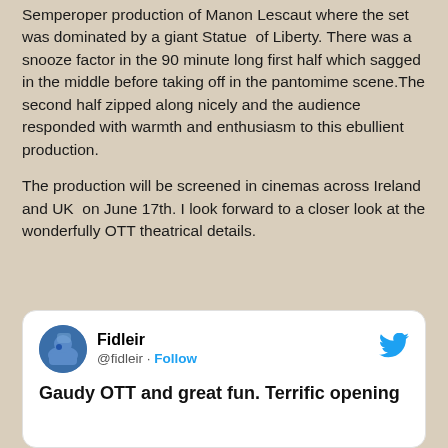Semperoper production of Manon Lescaut where the set was dominated by a giant Statue of Liberty. There was a snooze factor in the 90 minute long first half which sagged in the middle before taking off in the pantomime scene.The second half zipped along nicely and the audience responded with warmth and enthusiasm to this ebullient production.

The production will be screened in cinemas across Ireland and UK on June 17th. I look forward to a closer look at the wonderfully OTT theatrical details.

Director Terry Gilliam's hilarious diary which appeared in The Guardian is here
[Figure (screenshot): Embedded tweet from @fidleir (Fidleir) with Twitter bird logo and Follow button. Tweet text reads: Gaudy OTT and great fun. Terrific opening...]